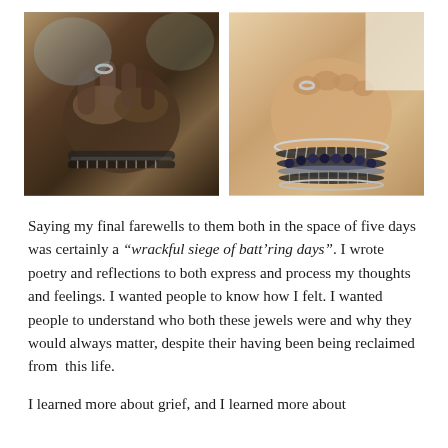[Figure (photo): Close-up of elderly dark-skinned hands clasped together, wearing a striped/textured bracelet, with artistic background]
[Figure (photo): Close-up of lighter-skinned hands/wrists wearing multiple bracelets including striped and beaded bracelets, gripping something white]
Saying my final farewells to them both in the space of five days was certainly a “wrackful siege of batt’ring days”. I wrote poetry and reflections to both express and process my thoughts and feelings. I wanted people to know how I felt. I wanted people to understand who both these jewels were and why they would always matter, despite their having been being reclaimed from  this life.
I learned more about grief, and I learned more about